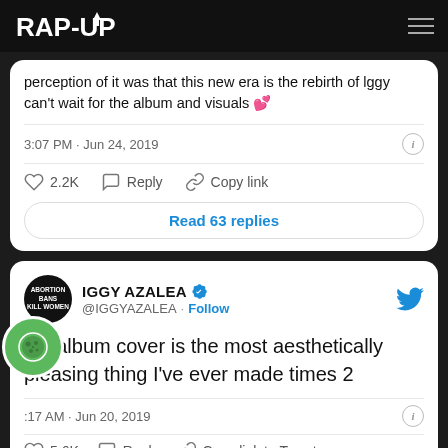RAP-UP
perception of it was that this new era is the rebirth of Iggy can't wait for the album and visuals 💕
3:07 PM · Jun 24, 2019
♡ 2.2K   ○ Reply   🔗 Copy link
Read 63 replies
IGGY AZALEA @IGGYAZALEA · Follow
My album cover is the most aesthetically pleasing thing I've ever made times 2
:17 AM · Jun 20, 2019
♡ 5.6K   ○ Reply   🔗 Copy link to Tweet
Read 156 replies